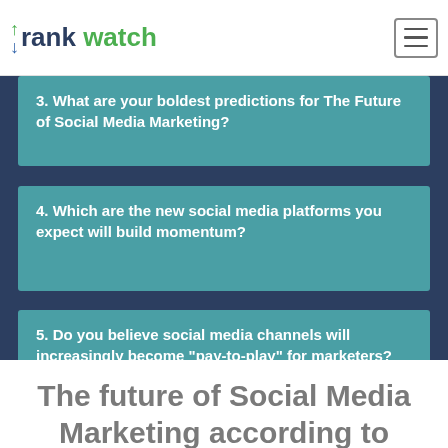rankwatch
3. What are your boldest predictions for The Future of Social Media Marketing?
4. Which are the new social media platforms you expect will build momentum?
5. Do you believe social media channels will increasingly become "pay-to-play" for marketers?
The future of Social Media Marketing according to Allison Stadd, Marketing and